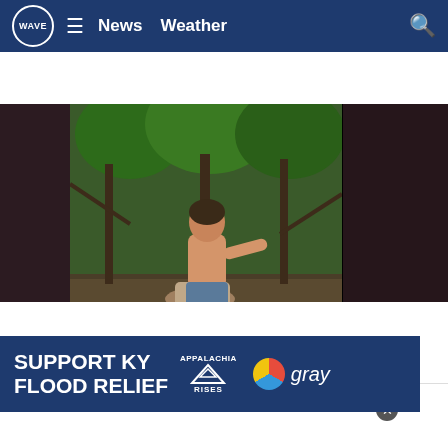WAVE News Weather
[Figure (screenshot): Video still of two people in a wooded area, one person kneeling over another on the ground. The center of the video is clear while the left and right sides are blurred/darkened. Video progress bar visible at bottom.]
[Figure (photo): Partial photo visible at bottom of page, showing a person outdoors near a building.]
[Figure (infographic): Advertisement banner for SUPPORT KY FLOOD RELIEF with Appalachia Rises logo and gray television logo.]